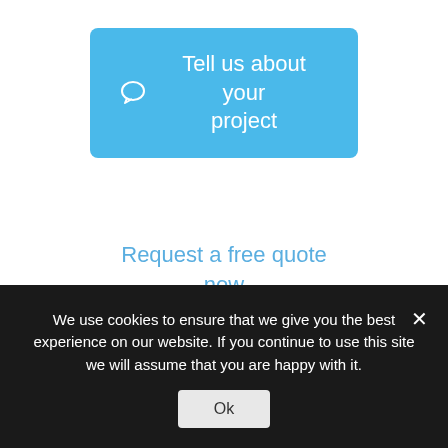[Figure (other): Blue rounded button with chat bubble icon and text 'Tell us about your project']
Request a free quote now
Paid Search Advertising
[Figure (illustration): Magnifying glass icon in a rounded square box]
Earn a positive ROI through our PPC search advertising.
We use cookies to ensure that we give you the best experience on our website. If you continue to use this site we will assume that you are happy with it.